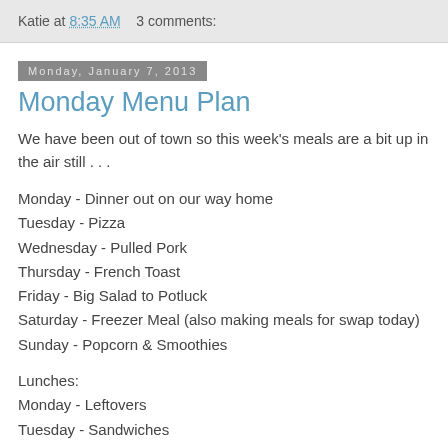Katie at 8:35 AM    3 comments:
Monday, January 7, 2013
Monday Menu Plan
We have been out of town so this week's meals are a bit up in the air still . . .
Monday - Dinner out on our way home
Tuesday - Pizza
Wednesday - Pulled Pork
Thursday - French Toast
Friday - Big Salad to Potluck
Saturday - Freezer Meal (also making meals for swap today)
Sunday - Popcorn & Smoothies
Lunches:
Monday - Leftovers
Tuesday - Sandwiches
Wednesday - Quesadilla
Thursday - Chicken Nuggets